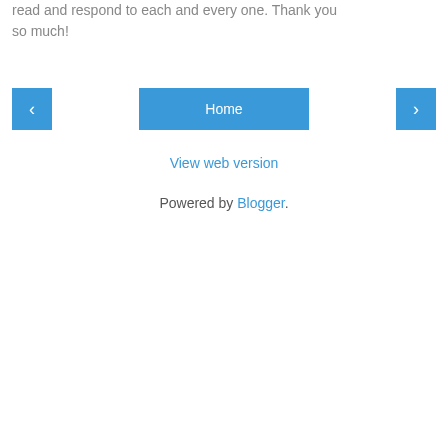read and respond to each and every one. Thank you so much!
[Figure (screenshot): Navigation row with left arrow button, Home button, and right arrow button, all in blue]
View web version
Powered by Blogger.